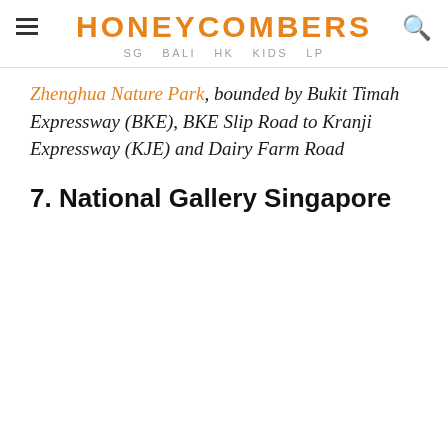HONEYCOMBERS SG BALI HK KIDS LP
Zhenghua Nature Park, bounded by Bukit Timah Expressway (BKE), BKE Slip Road to Kranji Expressway (KJE) and Dairy Farm Road
7. National Gallery Singapore